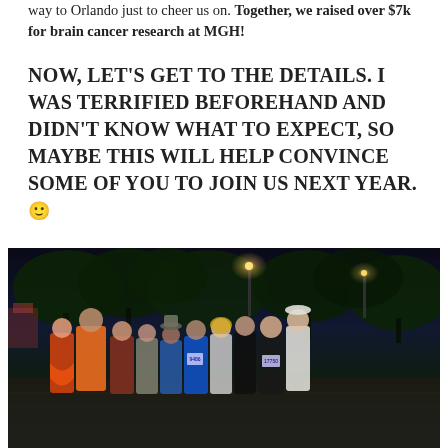way to Orlando just to cheer us on. Together, we raised over $7k for brain cancer research at MGH!
NOW, LET'S GET TO THE DETAILS. I WAS TERRIFIED BEFOREHAND AND DIDN'T KNOW WHAT TO EXPECT, SO MAYBE THIS WILL HELP CONVINCE SOME OF YOU TO JOIN US NEXT YEAR. 🙂
[Figure (photo): Group photo of approximately 10 people posing together at night outdoors, likely at a running event in Orlando. They are wearing athletic/running gear, some in colorful outfits. Trees and street lights are visible in the background, with a parking lot or track surface visible.]